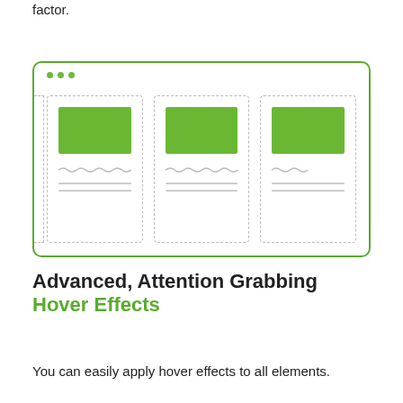factor.
[Figure (illustration): Browser window mockup showing three card-style content blocks side by side. Each card has a green image placeholder at the top and two lines of placeholder text below (one wavy, one straight). A partial fourth card is partially visible on the left edge. Three green dots appear in the top-left corner of the browser chrome.]
Advanced, Attention Grabbing
Hover Effects
You can easily apply hover effects to all elements.